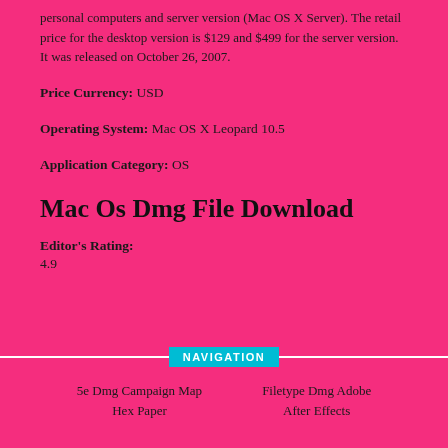personal computers and server version (Mac OS X Server). The retail price for the desktop version is $129 and $499 for the server version. It was released on October 26, 2007.
Price Currency: USD
Operating System: Mac OS X Leopard 10.5
Application Category: OS
Mac Os Dmg File Download
Editor's Rating:
4.9
NAVIGATION
5e Dmg Campaign Map
Hex Paper
Filetype Dmg Adobe
After Effects